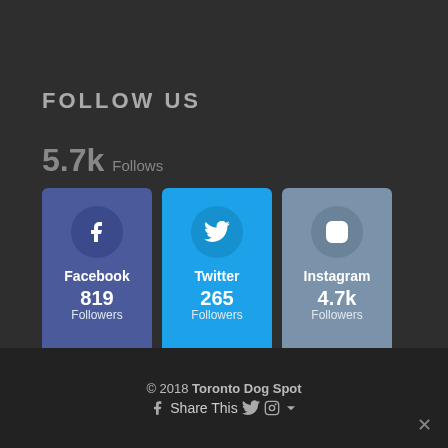FOLLOW US
5.7k Follows
[Figure (infographic): Three social media follow cards: Facebook 819 Followers, Twitter 265 Followers, Instagram 4.7k Followers]
© 2018 Toronto Dog Spot | Share This